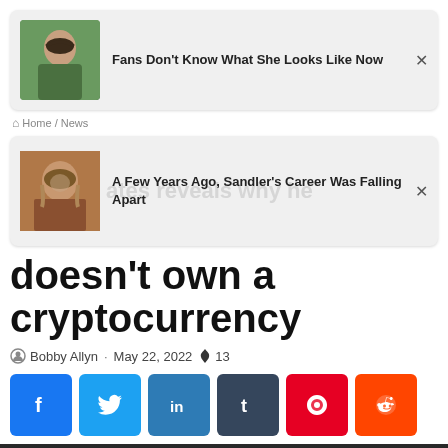[Figure (other): Ad card: girl photo with text 'Fans Don't Know What She Looks Like Now' and X close button]
Home / News
[Figure (other): Ad card: Adam Sandler photo with text 'A Few Years Ago, Sandler's Career Was Falling Apart' and X close button, with watermark text 'ates reveals why he']
doesn't own a cryptocurrency
Bobby Allyn · May 22, 2022 🔥 13
[Figure (other): Social share buttons row: Facebook, Twitter, LinkedIn, Tumblr, Pinterest, Reddit]
[Figure (other): Bottom bar: Facebook, Twitter, WhatsApp, Telegram share buttons]